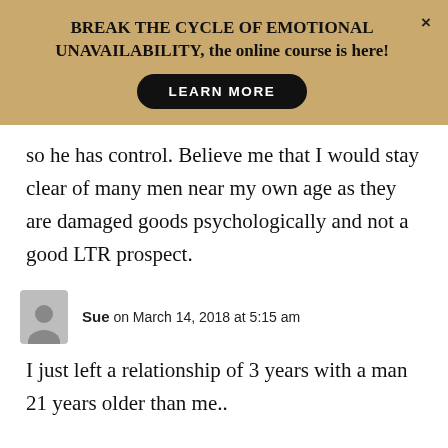BREAK THE CYCLE OF EMOTIONAL UNAVAILABILITY, the online course is here!
so he has control. Believe me that I would stay clear of many men near my own age as they are damaged goods psychologically and not a good LTR prospect.
Sue on March 14, 2018 at 5:15 am
I just left a relationship of 3 years with a man 21 years older than me..